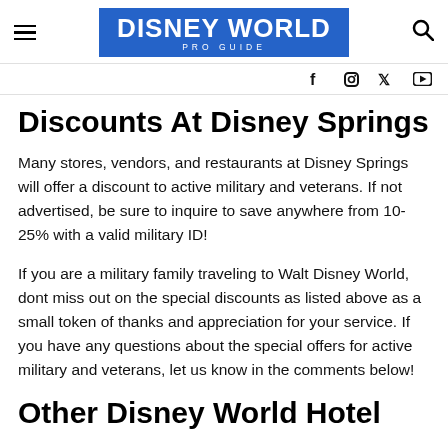DISNEY WORLD PRO GUIDE
Discounts At Disney Springs
Many stores, vendors, and restaurants at Disney Springs will offer a discount to active military and veterans. If not advertised, be sure to inquire to save anywhere from 10-25% with a valid military ID!
If you are a military family traveling to Walt Disney World, dont miss out on the special discounts as listed above as a small token of thanks and appreciation for your service. If you have any questions about the special offers for active military and veterans, let us know in the comments below!
Other Disney World Hotel Discounts